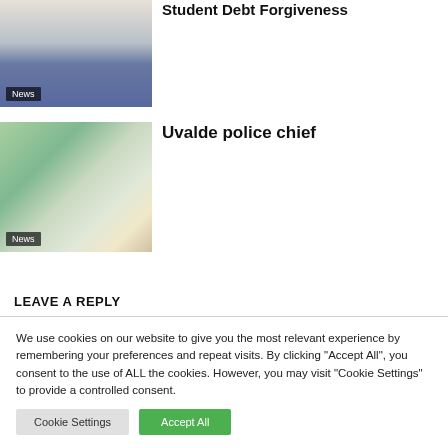[Figure (photo): Person pulling out empty trouser pockets, wearing jeans and a grey top]
Student Debt Forgiveness
[Figure (photo): Overhead or wide-angle view of a school hallway or room with colorful walls, a figure visible in the corridor]
Uvalde police chief
LEAVE A REPLY
We use cookies on our website to give you the most relevant experience by remembering your preferences and repeat visits. By clicking "Accept All", you consent to the use of ALL the cookies. However, you may visit "Cookie Settings" to provide a controlled consent.